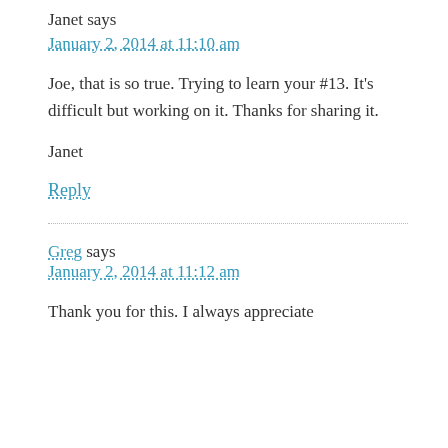Janet says
January 2, 2014 at 11:10 am
Joe, that is so true. Trying to learn your #13. It's difficult but working on it. Thanks for sharing it.
Janet
Reply
Greg says
January 2, 2014 at 11:12 am
Thank you for this. I always appreciate